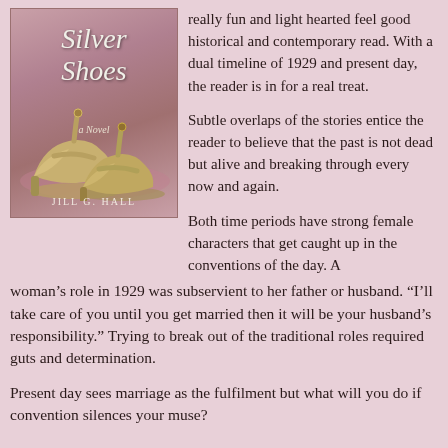[Figure (illustration): Book cover of 'The Silver Shoes: A Novel' by Jill G. Hall, showing a pair of silver/gold vintage T-strap heels on a pink satin background]
really fun and light hearted feel good historical and contemporary read. With a dual timeline of 1929 and present day, the reader is in for a real treat.
Subtle overlaps of the stories entice the reader to believe that the past is not dead but alive and breaking through every now and again.
Both time periods have strong female characters that get caught up in the conventions of the day. A woman's role in 1929 was subservient to her father or husband. “I’ll take care of you until you get married then it will be your husband’s responsibility.” Trying to break out of the traditional roles required guts and determination.
Present day sees marriage as the fulfilment but what will you do if convention silences your muse?